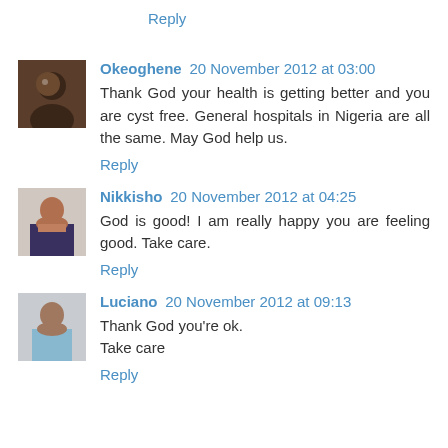Reply
Okeoghene  20 November 2012 at 03:00
Thank God your health is getting better and you are cyst free. General hospitals in Nigeria are all the same. May God help us.
Reply
Nikkisho  20 November 2012 at 04:25
God is good! I am really happy you are feeling good. Take care.
Reply
Luciano  20 November 2012 at 09:13
Thank God you're ok.
Take care
Reply